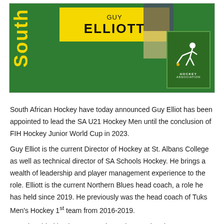[Figure (photo): South African Hockey banner featuring Guy Elliott appointment. Green background with yellow 'GUY ELLIOTT' text box, yellow 'South' vertical text on left, and South African Hockey Association logo (green box with white stick figure hockey player) on right.]
South African Hockey have today announced Guy Elliot has been appointed to lead the SA U21 Hockey Men until the conclusion of FIH Hockey Junior World Cup in 2023.
Guy Elliot is the current Director of Hockey at St. Albans College as well as technical director of SA Schools Hockey. He brings a wealth of leadership and player management experience to the role. Elliott is the current Northern Blues head coach, a role he has held since 2019. He previously was the head coach of Tuks Men's Hockey 1st team from 2016-2019.
“I am humbled by the opportunity. To be appointed to represent my country is a massive honour. I have worked incredibly hard over my